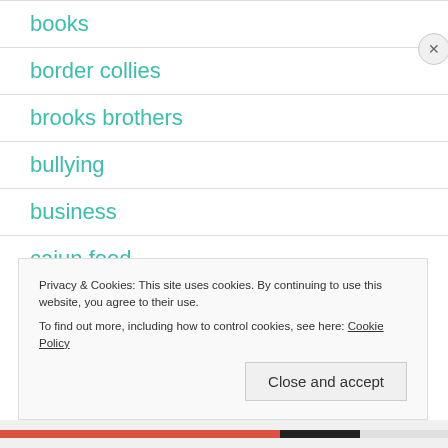books
border collies
brooks brothers
bullying
business
cajun food
Privacy & Cookies: This site uses cookies. By continuing to use this website, you agree to their use.
To find out more, including how to control cookies, see here: Cookie Policy
Close and accept